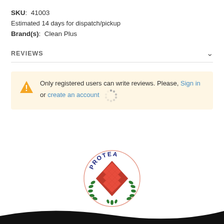SKU:  41003
Estimated 14 days for dispatch/pickup
Brand(s):  Clean Plus
REVIEWS
Only registered users can write reviews. Please, Sign in or create an account
[Figure (logo): Protea logo — circular badge with green laurel wreath, red diamond/grid pattern in center, 'PROTEA' text in dark blue at top]